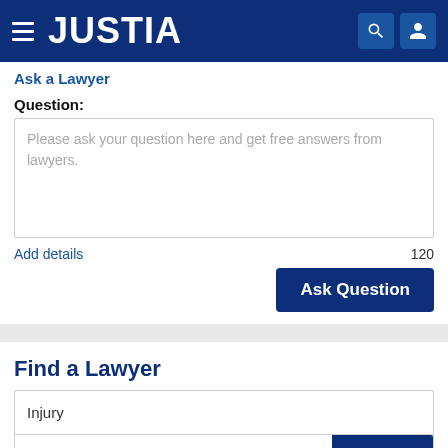[Figure (screenshot): Justia website navigation bar with hamburger menu, JUSTIA logo, search icon, and user icon on dark blue background]
Ask a Lawyer
Question:
Please ask your question here and get free answers from lawyers.
Add details
120
Ask Question
Find a Lawyer
Injury
Connecticut
Search